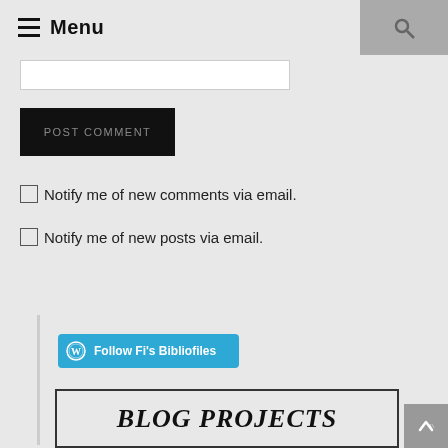Menu
POST COMMENT
Notify me of new comments via email.
Notify me of new posts via email.
Follow Fi's Bibliofiles
BLOG PROJECTS